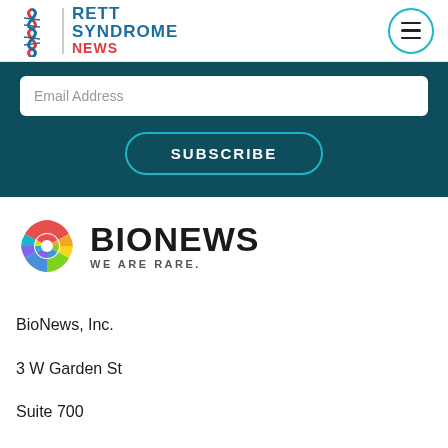RETT SYNDROME NEWS
Email Address
SUBSCRIBE
[Figure (logo): BioNews logo with colorful circular icon and text 'BIONEWS WE ARE RARE.']
BioNews, Inc.
3 W Garden St
Suite 700
Pensacola, FL 32502
Website: bionews.com
Email: info@bionews.com